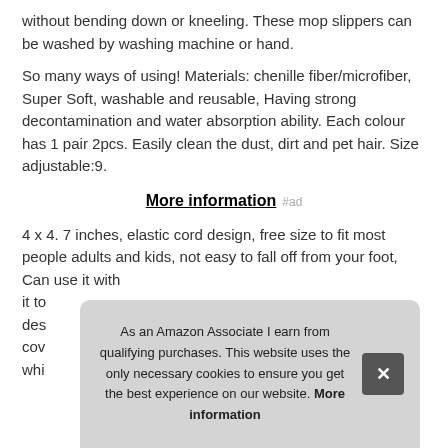without bending down or kneeling. These mop slippers can be washed by washing machine or hand.
So many ways of using! Materials: chenille fiber/microfiber, Super Soft, washable and reusable, Having strong decontamination and water absorption ability. Each colour has 1 pair 2pcs. Easily clean the dust, dirt and pet hair. Size adjustable:9.
More information #ad
4 x 4. 7 inches, elastic cord design, free size to fit most people adults and kids, not easy to fall off from your foot, Can use it with... it to... des... cov... whi...
As an Amazon Associate I earn from qualifying purchases. This website uses the only necessary cookies to ensure you get the best experience on our website. More information